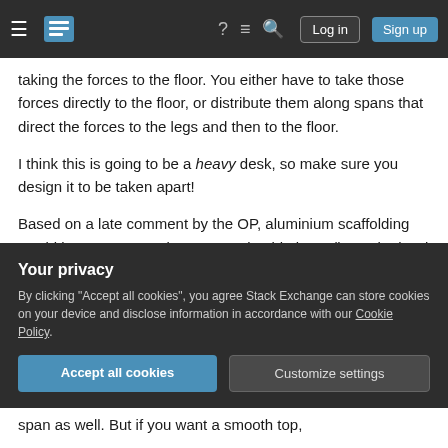Stack Exchange navigation bar with hamburger menu, logo, help, chat, search icons, Log in and Sign up buttons
taking the forces to the floor. You either have to take those forces directly to the floor, or distribute them along spans that direct the forces to the legs and then to the floor.
I think this is going to be a heavy desk, so make sure you design it to be taken apart!
Based on a late comment by the OP, aluminium scaffolding would be very appropriate as a task table base (it can be hard to level; make sure you
Your privacy
By clicking "Accept all cookies", you agree Stack Exchange can store cookies on your device and disclose information in accordance with our Cookie Policy.
Accept all cookies
Customize settings
span as well. But if you want a smooth top,